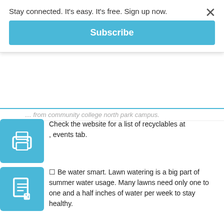Stay connected. It's easy. It's free. Sign up now.
Subscribe
Check the website for a list of recyclables at , events tab.
Be water smart. Lawn watering is a big part of summer water usage. Many lawns need only one to one and a half inches of water per week to stay healthy.
Check out Missouri American Water’s website at
and click on the “Learning Center” tab.
Drink water wisely. Keep a reusable bottle of tap water handy. As many as 85 percent of plastic water bottles — an average of 38 million bottles a year — are sent to landfills, according to the Container Recycling Institute.
Dispose of unneeded medicines properly. Missouri P2D2 offers